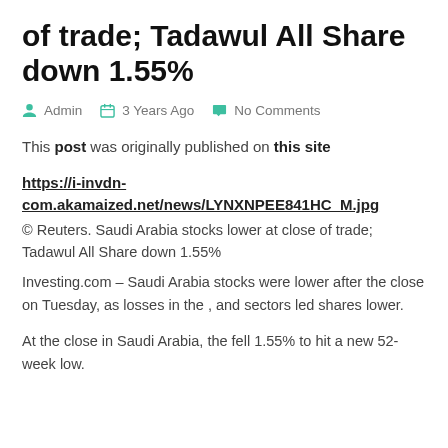of trade; Tadawul All Share down 1.55%
Admin   3 Years Ago   No Comments
This post was originally published on this site
https://i-invdn-com.akamaized.net/news/LYNXNPEE841HC_M.jpg
© Reuters. Saudi Arabia stocks lower at close of trade; Tadawul All Share down 1.55%
Investing.com – Saudi Arabia stocks were lower after the close on Tuesday, as losses in the , and sectors led shares lower.
At the close in Saudi Arabia, the fell 1.55% to hit a new 52-week low.